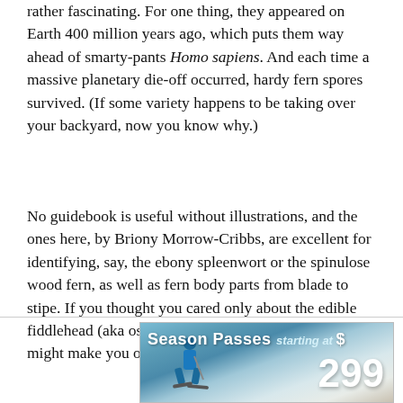rather fascinating. For one thing, they appeared on Earth 400 million years ago, which puts them way ahead of smarty-pants Homo sapiens. And each time a massive planetary die-off occurred, hardy fern spores survived. (If some variety happens to be taking over your backyard, now you know why.)
No guidebook is useful without illustrations, and the ones here, by Briony Morrow-Cribbs, are excellent for identifying, say, the ebony spleenwort or the spinulose wood fern, as well as fern body parts from blade to stipe. If you thought you cared only about the edible fiddlehead (aka ostrich fern), Levine's petite volume might make you open your fronds — er, mind.
[Figure (photo): Advertisement banner for ski season passes starting at $299, showing a skier on a snowy slope with teal/blue background.]